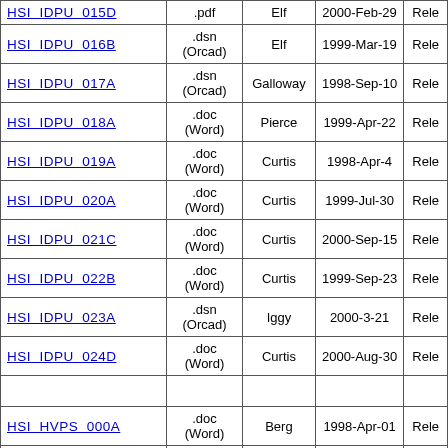| Document ID | Format | Author | Date | Status |
| --- | --- | --- | --- | --- |
| HSI IDPU 015D | .pdf | Elf | 2000-Feb-29 | Rele |
| HSI IDPU 016B | .dsn (Orcad) | Elf | 1999-Mar-19 | Rele |
| HSI IDPU 017A | .dsn (Orcad) | Galloway | 1998-Sep-10 | Rele |
| HSI IDPU 018A | .doc (Word) | Pierce | 1999-Apr-22 | Rele |
| HSI IDPU 019A | .doc (Word) | Curtis | 1998-Apr-4 | Rele |
| HSI IDPU 020A | .doc (Word) | Curtis | 1999-Jul-30 | Rele |
| HSI IDPU 021C | .doc (Word) | Curtis | 2000-Sep-15 | Rele |
| HSI IDPU 022B | .doc (Word) | Curtis | 1999-Sep-23 | Rele |
| HSI IDPU 023A | .dsn (Orcad) | Iggy | 2000-3-21 | Rele |
| HSI IDPU 024D | .doc (Word) | Curtis | 2000-Aug-30 | Rele |
|  |  |  |  |  |
| HSI HVPS 000A | .doc (Word) | Berg | 1998-Apr-01 | Rele |
| HSI HVPS 001A | .dsn (Orcad) | Berg | 1999-Aug-10 | Rele |
|  |  |  |  |  |